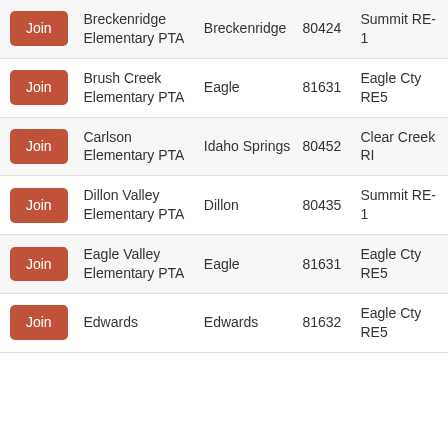|  | Organization | City | ZIP | District |
| --- | --- | --- | --- | --- |
| Join | Breckenridge Elementary PTA | Breckenridge | 80424 | Summit RE-1 |
| Join | Brush Creek Elementary PTA | Eagle | 81631 | Eagle Cty RE5 |
| Join | Carlson Elementary PTA | Idaho Springs | 80452 | Clear Creek RE |
| Join | Dillon Valley Elementary PTA | Dillon | 80435 | Summit RE-1 |
| Join | Eagle Valley Elementary PTA | Eagle | 81631 | Eagle Cty RE5 |
| Join | Edwards | Edwards | 81632 | Eagle Cty RE5 |